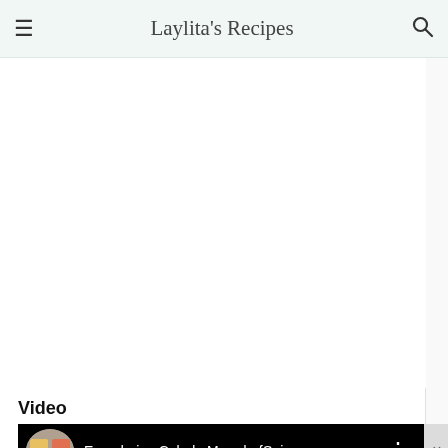Laylita's Recipes
[Figure (other): Large white blank content area (image placeholder)]
Video
[Figure (screenshot): Embedded YouTube video player showing 'Ecuadorian Colada Morada {Spic...' with black top bar, thumbnail circle, three-dot menu icon, and X close button. Below is a video preview frame showing a blurred pink/red drink image.]